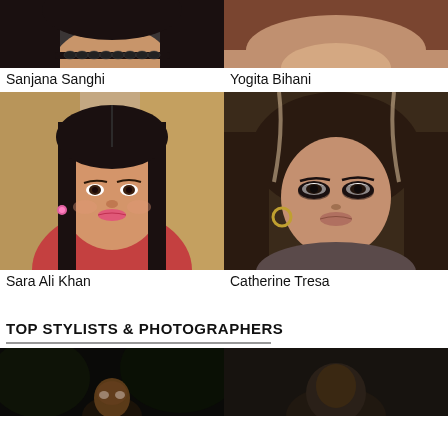[Figure (photo): Partial cropped photo of Sanjana Sanghi - woman with black choker necklace and dark hair, top portion visible]
[Figure (photo): Partial cropped photo of Yogita Bihani - woman with reddish-brown hair, top portion visible]
Sanjana Sanghi
Yogita Bihani
[Figure (photo): Photo of Sara Ali Khan - young woman with long straight dark hair, pink earrings, red floral outfit]
[Figure (photo): Photo of Catherine Tresa - woman with wavy dark hair with highlights, dark eye makeup, hoop earring]
Sara Ali Khan
Catherine Tresa
TOP STYLISTS & PHOTOGRAPHERS
[Figure (photo): Dark photo of a man outdoors at night, partial view at bottom of page]
[Figure (photo): Dark photo of a person, partial view at bottom of page]